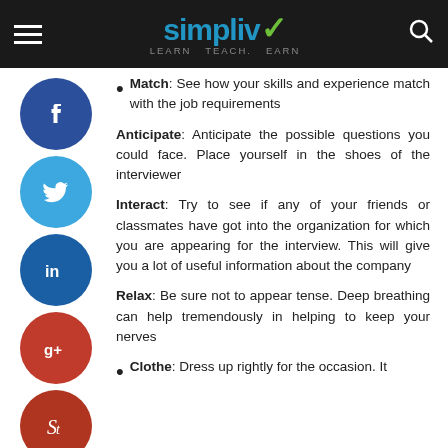simpliv Learn. Teach. Earn.
Match: See how your skills and experience match with the job requirements
Anticipate: Anticipate the possible questions you could face. Place yourself in the shoes of the interviewer
Interact: Try to see if any of your friends or classmates have got into the organization for which you are appearing for the interview. This will give you a lot of useful information about the company
Relax: Be sure not to appear tense. Deep breathing can help tremendously in helping to keep your nerves
Clothe: Dress up rightly for the occasion. It